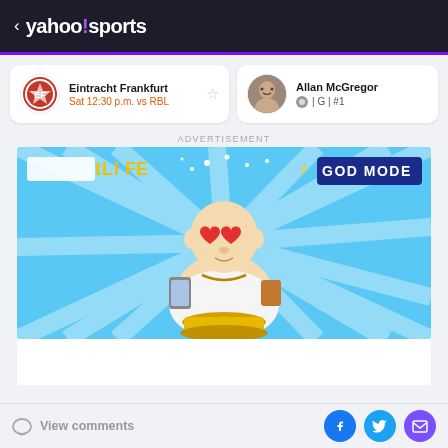< yahoo!sports
Eintracht Frankfurt
Sat 12:30 p.m. vs RBL
Allan McGregor
G | #1
ADVERTISEMENT
[Figure (screenshot): Advertisement banner showing a cartoon Buddha-like character with heart eyes, dressed in white robes, holding a phone and cup, sitting on a gold pedestal. Background is blue with sunrays. Text says 'tLIFE' on left and 'GOD MODE' on right.]
View comments